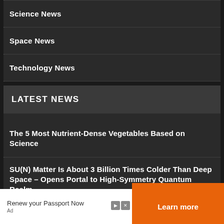Science News
Space News
Technology News
LATEST NEWS
The 5 Most Nutrient-Dense Vegetables Based on Science
SU(N) Matter Is About 3 Billion Times Colder Than Deep Space – Opens Portal to High-Symmetry Quantum Realm
Renew your Passport Now
Learn more
Ad